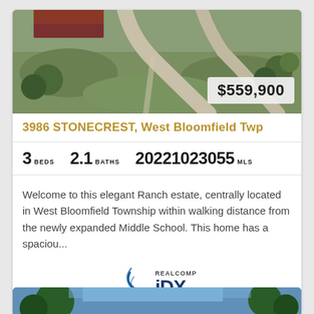[Figure (photo): Aerial view of a ranch-style home with driveway, lawn, and landscaping]
$559,900
3986 STONECREST, West Bloomfield Twp
3 BEDS  2.1 BATHS  20221023055 MLS
Welcome to this elegant Ranch estate, centrally located in West Bloomfield Township within walking distance from the newly expanded Middle School. This home has a spaciou...
[Figure (logo): REALCOMP IDX logo with wave graphic]
[Figure (photo): Partial view of second property listing photo at bottom of page]